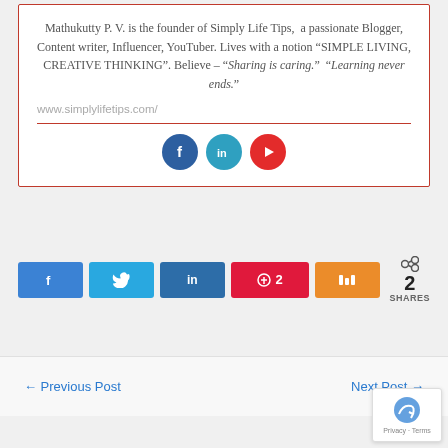Mathukutty P. V. is the founder of Simply Life Tips,  a passionate Blogger, Content writer, Influencer, YouTuber. Lives with a notion “SIMPLE LIVING, CREATIVE THINKING”. Believe – “Sharing is caring.”  “Learning never ends.”
www.simplylifetips.com/
[Figure (infographic): Social media icons: Facebook (blue circle), LinkedIn (teal circle), YouTube (red circle)]
[Figure (infographic): Share buttons: Facebook (blue), Twitter (blue), LinkedIn (dark blue), Pinterest with count 2 (red), Mix (orange), share icon with 2 SHARES]
← Previous Post
Next Post →